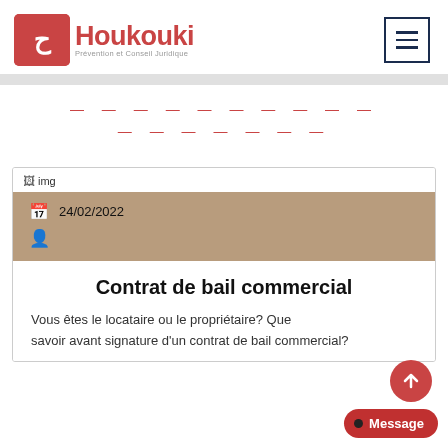[Figure (logo): Houkouki logo — red square with Arabic letter, red text 'Houkouki', tagline 'Prévention et Conseil Juridique']
[Figure (other): Hamburger menu icon in navy border box]
[Figure (other): Decorative dashed lines in red/pink]
[Figure (other): Broken image placeholder labeled 'img']
24/02/2022
Contrat de bail commercial
Vous êtes le locataire ou le propriétaire? Que savoir avant signature d'un contrat de bail commercial?